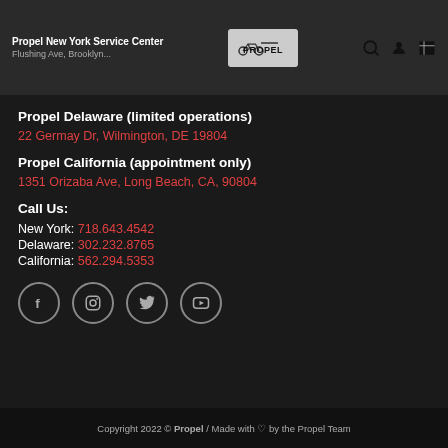Propel New York Service Center
Flushing Ave, Brooklyn...
Propel Delaware (limited operations)
22 Germay Dr, Wilmington, DE 19804
Propel California (appointment only)
1351 Orizaba Ave, Long Beach, CA, 90804
Call Us:
New York: 718.643.4542
Delaware: 302.232.8765
California: 562.294.5353
[Figure (other): Social media icons: Facebook, Instagram, Twitter, YouTube]
Copyright 2022 © Propel / Made with ♡ by the Propel Team